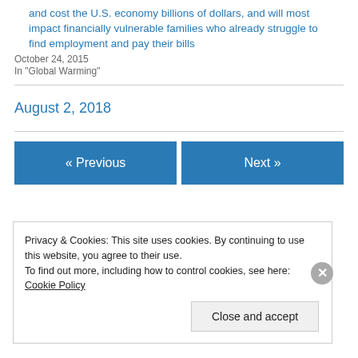and cost the U.S. economy billions of dollars, and will most impact financially vulnerable families who already struggle to find employment and pay their bills
October 24, 2015
In "Global Warming"
August 2, 2018
« Previous
Next »
Privacy & Cookies: This site uses cookies. By continuing to use this website, you agree to their use.
To find out more, including how to control cookies, see here: Cookie Policy
Close and accept